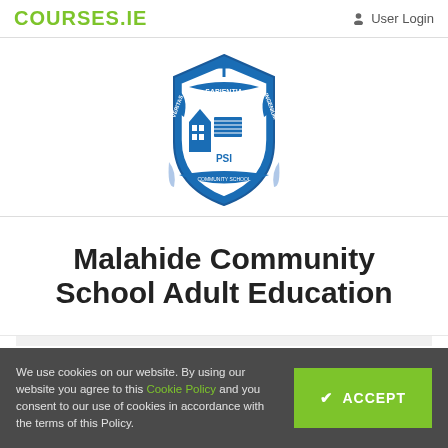COURSES.IE  User Login
[Figure (logo): Malahide Community School crest/shield logo in blue, with text SAPIENTIA, VERITAS, INGENIUM, PSI, COMMUNITY SCHOOL, MALAHIDE, and a cross at the top]
Malahide Community School Adult Education
We use cookies on our website. By using our website you agree to this Cookie Policy and you consent to our use of cookies in accordance with the terms of this Policy.